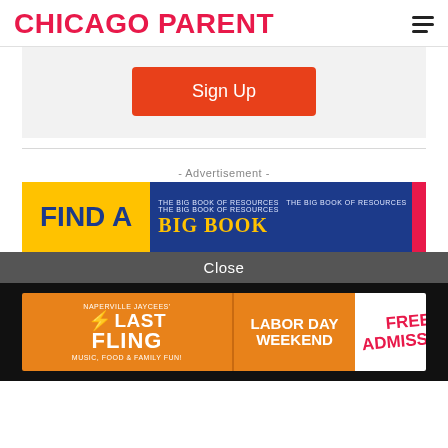CHICAGO PARENT
[Figure (other): Sign Up button in gray signup box]
- Advertisement -
[Figure (infographic): Advertisement banner: FIND A BIG BOOK]
Close
[Figure (infographic): Naperville Jaycees Last Fling advertisement - Labor Day Weekend - Free Admission]